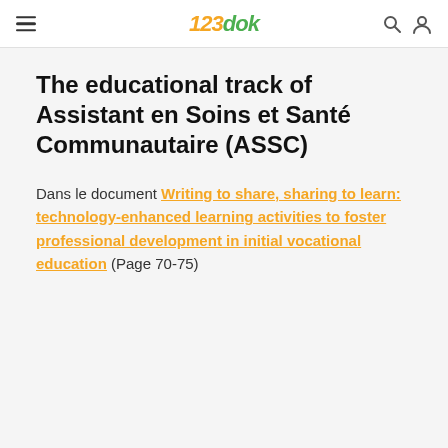123dok
The educational track of Assistant en Soins et Santé Communautaire (ASSC)
Dans le document Writing to share, sharing to learn: technology-enhanced learning activities to foster professional development in initial vocational education (Page 70-75)